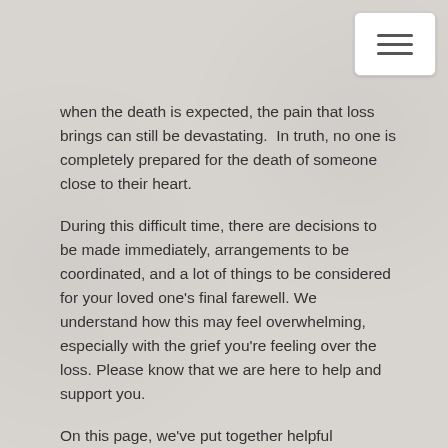when the death is expected, the pain that loss brings can still be devastating.  In truth, no one is completely prepared for the death of someone close to their heart.
During this difficult time, there are decisions to be made immediately, arrangements to be coordinated, and a lot of things to be considered for your loved one's final farewell. We understand how this may feel overwhelming, especially with the grief you're feeling over the loss. Please know that we are here to help and support you.
On this page, we've put together helpful information to guide you through this process.
NOTIFY PROPER AUTHORITIES